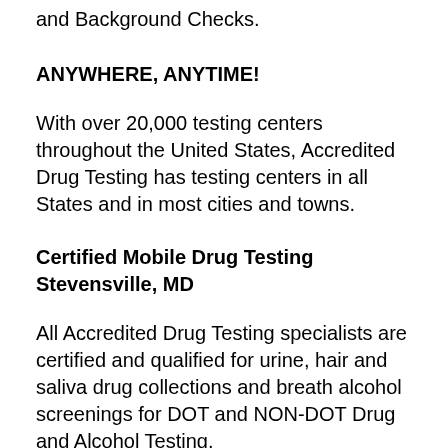and Background Checks.
ANYWHERE, ANYTIME!
With over 20,000 testing centers throughout the United States, Accredited Drug Testing has testing centers in all States and in most cities and towns.
Certified Mobile Drug Testing Stevensville, MD
All Accredited Drug Testing specialists are certified and qualified for urine, hair and saliva drug collections and breath alcohol screenings for DOT and NON-DOT Drug and Alcohol Testing.
Which Drug Testing Panel Is Right For You?
Drug test screening groups are commonly referred to as a drug testing panel. The most common panels used are a 5